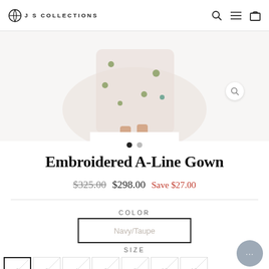J S COLLECTIONS
[Figure (photo): Partial view of a model wearing an embroidered A-line gown, showing the lower portion of the dress and feet with sandals on a white background]
Embroidered A-Line Gown
$325.00  $298.00  Save $27.00
COLOR
Navy/Taupe
SIZE